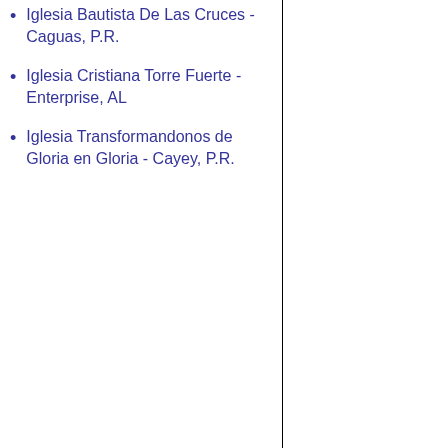Iglesia Bautista De Las Cruces - Caguas, P.R.
Iglesia Cristiana Torre Fuerte - Enterprise, AL
Iglesia Transformandonos de Gloria en Gloria - Cayey, P.R.